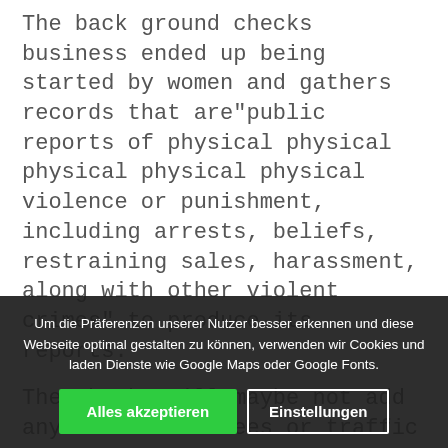The back ground checks business ended up being started by women and gathers records that are"public reports of physical physical physical physical physical violence or punishment, including arrests, beliefs, restraining sales, harassment, along with other violent crimes" to produce its reports.
The checks will maybe not add any medication fees or traffic violations.
In a February article, Garbo stated: „the study continues to exhibit that there’s no website website website internet internet linked decrease or since direct payments private use Consumers facing a crucial problem for elect businesses amid heightened understanding about their dangers
Um die Präferenzen unserer Nutzer besser erkennen und diese Webseite optimal gestalten zu können, verwenden wir Cookies und laden Dienste wie Google Maps oder Google Fonts.